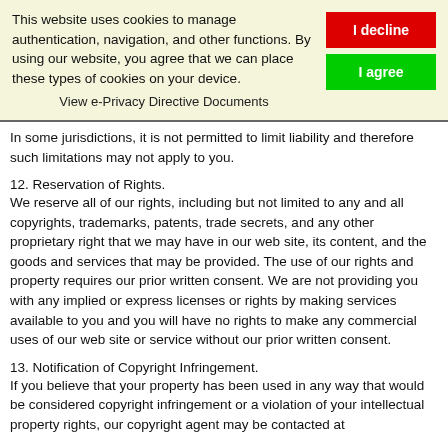This website uses cookies to manage authentication, navigation, and other functions. By using our website, you agree that we can place these types of cookies on your device.
View e-Privacy Directive Documents
In some jurisdictions, it is not permitted to limit liability and therefore such limitations may not apply to you.
12. Reservation of Rights.
We reserve all of our rights, including but not limited to any and all copyrights, trademarks, patents, trade secrets, and any other proprietary right that we may have in our web site, its content, and the goods and services that may be provided. The use of our rights and property requires our prior written consent. We are not providing you with any implied or express licenses or rights by making services available to you and you will have no rights to make any commercial uses of our web site or service without our prior written consent.
13. Notification of Copyright Infringement.
If you believe that your property has been used in any way that would be considered copyright infringement or a violation of your intellectual property rights, our copyright agent may be contacted at